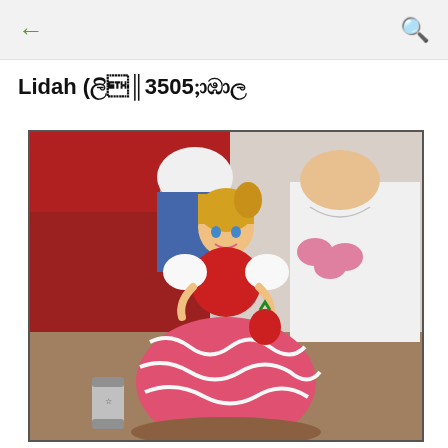← [back arrow]   [search icon]
Lidah (ලිඩා
[Figure (photo): A Barbie doll cake decorated with red and white frosting in a dress shape, held by a child. Two children are seated in the background wearing school uniforms. A beverage can is visible on the left side.]